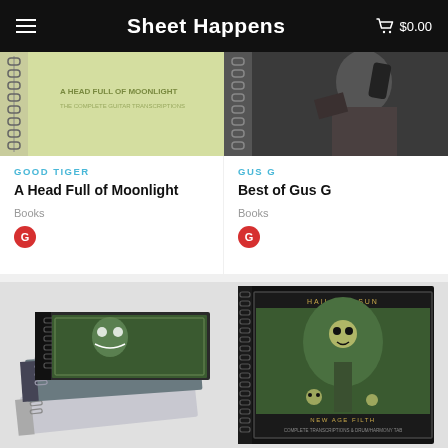Sheet Happens  $0.00
[Figure (photo): Spiral-bound book with yellow-green cover, 'A Head Full of Moonlight' visible on cover]
[Figure (photo): Spiral-bound book with dark cover showing a shadowy portrait]
GOOD TIGER
A Head Full of Moonlight
Books
GOOD TIGER — G badge
GUS G
Best of Gus G
Books
GUS G — G badge
[Figure (photo): Stack of three spiral-bound music books with illustrated/photo covers, fanned out]
[Figure (photo): Spiral-bound book with black cover showing 'Hail The Sun — New Age Filth' illustrated cover art]